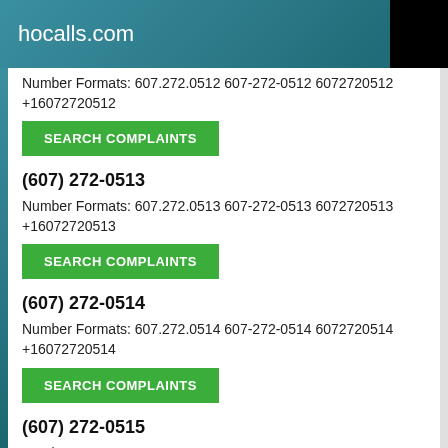hocalls.com
Number Formats: 607.272.0512 607-272-0512 6072720512 +16072720512
SEARCH COMPLAINTS
(607) 272-0513
Number Formats: 607.272.0513 607-272-0513 6072720513 +16072720513
SEARCH COMPLAINTS
(607) 272-0514
Number Formats: 607.272.0514 607-272-0514 6072720514 +16072720514
SEARCH COMPLAINTS
(607) 272-0515
Number Formats: 607.272.0515 607-272-0515 6072720515 +16072720515
SEARCH COMPLAINTS